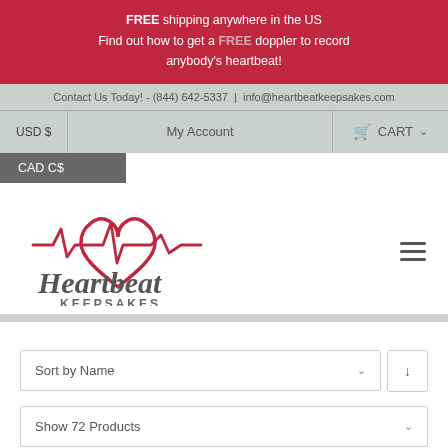FREE shipping anywhere in the US
Find out how to get a FREE doppler to record anybody's heartbeat!
Contact Us Today! - (844) 642-5337 | info@heartbeatkeepsakes.com
USD $   My Account   CART
CAD C$
[Figure (logo): Heartbeat Keepsakes logo with heart and EKG line graphic]
Sort by Name
Show 72 Products